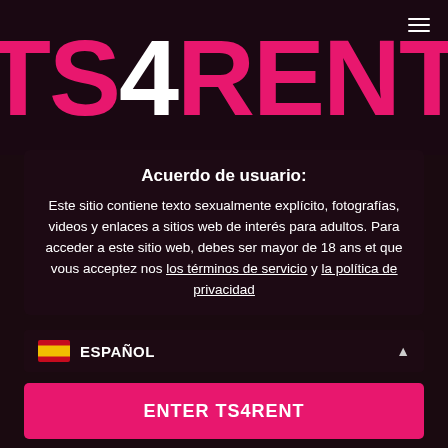TS4RENT
Acuerdo de usuario:
Este sitio contiene texto sexualmente explícito, fotografías, videos y enlaces a sitios web de interés para adultos. Para acceder a este sitio web, debes ser mayor de 18 ans et que vous acceptez nos los términos de servicio y la política de privacidad
ESPAÑOL
ENTER TS4RENT
No acepto - Salir de este sitio